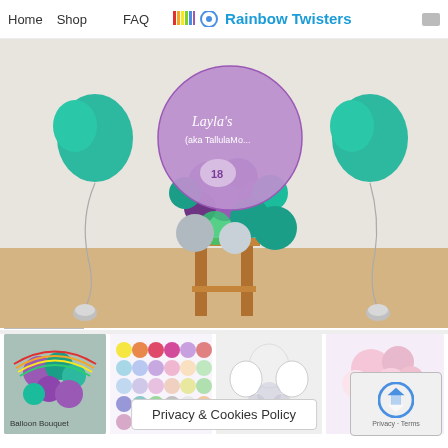Home  Shop  FAQ  Rainbow Twisters
[Figure (photo): A balloon arrangement featuring chrome purple, teal, and silver balloons clustered around a large personalized purple orbz balloon reading "Layla's (aka Tallulah Mo...)" with the number 18, displayed on a wooden stool. Two teal heart-shaped foil balloons with silver curling ribbon and glitter weights are visible on either side, against a light wall with wooden floor.]
[Figure (photo): Thumbnail: Rainbow and balloon display with teal, purple, chrome balloons and glitter drip]
[Figure (photo): Thumbnail: Balloon color chart showing various pastel and chrome balloon color options]
[Figure (photo): Thumbnail: White and silver balloon arrangement with confetti balloons]
[Figure (photo): Thumbnail: Pink and silver balloon arrangement]
Privacy & Cookies Policy